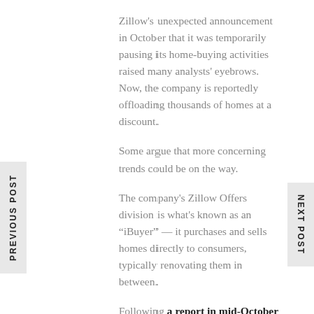Zillow's unexpected announcement in October that it was temporarily pausing its home-buying activities raised many analysts' eyebrows. Now, the company is reportedly offloading thousands of homes at a discount.
Some argue that more concerning trends could be on the way.
The company's Zillow Offers division is what's known as an “iBuyer” — it purchases and sells homes directly to consumers, typically renovating them in between.
Following a report in mid-October from Bloomberg, Zillow
Z,
-10.24%
ZG,
-11.52%
confirmed that its Zillow Offers division